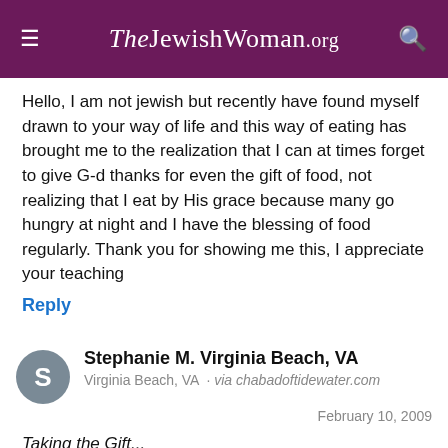TheJewishWoman.org
Hello, I am not jewish but recently have found myself drawn to your way of life and this way of eating has brought me to the realization that I can at times forget to give G-d thanks for even the gift of food, not realizing that I eat by His grace because many go hungry at night and I have the blessing of food regularly. Thank you for showing me this, I appreciate your teaching
Reply
Stephanie M. Virginia Beach, VA
Virginia Beach, VA · via chabadoftidewater.com
February 10, 2009
Taking the Gift...
"Taking the gift but leaving the giver behind." sums up so well my new relationship with G-d and my new found Jewish faith. I have recently